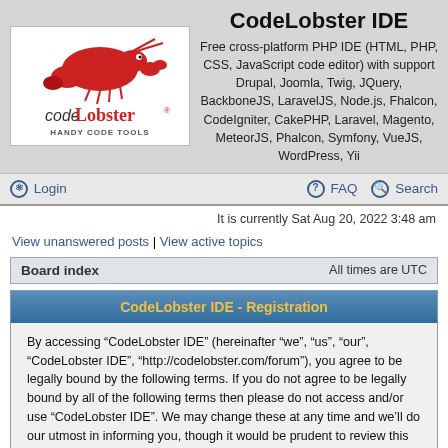[Figure (logo): CodeLobster IDE logo with red lobster graphic and 'HANDY CODE TOOLS' tagline]
CodeLobster IDE
Free cross-platform PHP IDE (HTML, PHP, CSS, JavaScript code editor) with support Drupal, Joomla, Twig, JQuery, BackboneJS, LaravelJS, Node.js, Fhalcon, CodeIgniter, CakePHP, Laravel, Magento, MeteorJS, Phalcon, Symfony, VueJS, WordPress, Yii
Login
FAQ   Search
It is currently Sat Aug 20, 2022 3:48 am
View unanswered posts | View active topics
Board index    All times are UTC
CodeLobster IDE - Registration
By accessing “CodeLobster IDE” (hereinafter “we”, “us”, “our”, “CodeLobster IDE”, “http://codelobster.com/forum”), you agree to be legally bound by the following terms. If you do not agree to be legally bound by all of the following terms then please do not access and/or use “CodeLobster IDE”. We may change these at any time and we’ll do our utmost in informing you, though it would be prudent to review this regularly yourself as your continued usage of “CodeLobster IDE” after changes mean you agree to be legally bound by these terms as they are updated and/or amended.
Our forums are powered by phpBB (hereinafter “they”, “them”, “their”, “phpBB software”, “www.phpbb.com”, “phpBB Group”, “phpBB